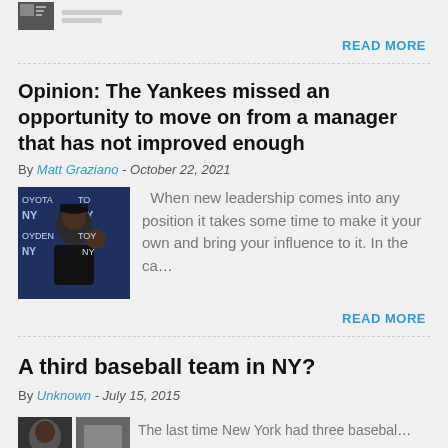[Figure (photo): Small thumbnail photo of a baseball-related image at the top of the page]
READ MORE
Opinion: The Yankees missed an opportunity to move on from a manager that has not improved enough
By Matt Graziano - October 22, 2021
[Figure (photo): Photo of a Yankees manager or player at a press conference with Toyota and NY Yankees logos visible in the background]
When new leadership comes into any position it takes some time to make it your own and bring your influence to it. In the ca...
READ MORE
A third baseball team in NY?
By Unknown - July 15, 2015
The last time New York had three basebal...